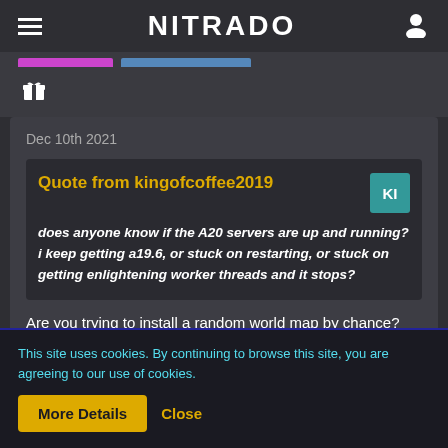NITRADO
Dec 10th 2021
Quote from kingofcoffee2019
does anyone know if the A20 servers are up and running? i keep getting a19.6, or stuck on restarting, or stuck on getting enlightening worker threads and it stops?
Are you trying to install a random world map by chance?
This site uses cookies. By continuing to browse this site, you are agreeing to our use of cookies.